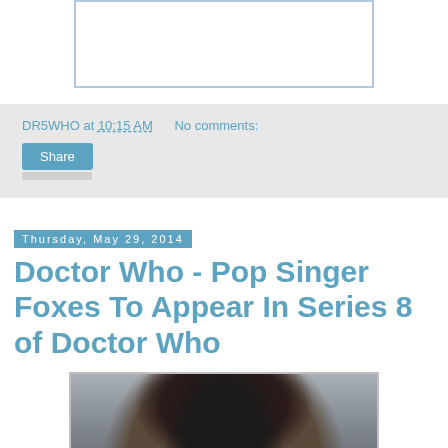[Figure (photo): Empty white image placeholder with teal border at top of page]
DR5WHO at 10:15 AM   No comments:
Share
Thursday, May 29, 2014
Doctor Who - Pop Singer Foxes To Appear In Series 8 of Doctor Who
[Figure (photo): Close-up photo of pop singer Foxes with dark hair and bangs, looking at camera]